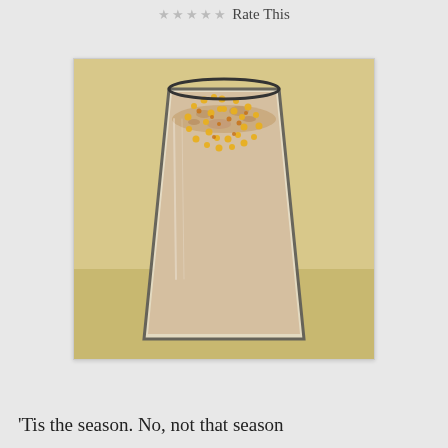Rate This
[Figure (photo): A tall glass filled with a creamy beige smoothie or milkshake, topped with golden bee pollen granules scattered on the surface. The glass is clear and sits on a light-colored surface.]
'Tis the season. No, not that season